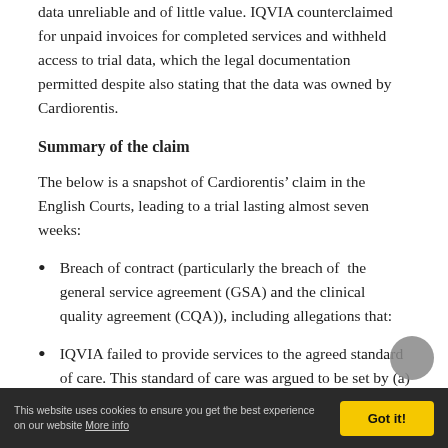data unreliable and of little value. IQVIA counterclaimed for unpaid invoices for completed services and withheld access to trial data, which the legal documentation permitted despite also stating that the data was owned by Cardiorentis.
Summary of the claim
The below is a snapshot of Cardiorentis’ claim in the English Courts, leading to a trial lasting almost seven weeks:
Breach of contract (particularly the breach of the general service agreement (GSA) and the clinical quality agreement (CQA)), including allegations that:
IQVIA failed to provide services to the agreed standard of care. This standard of care was argued to be set by (a) a clause referring to “the standard
This website uses cookies to ensure you get the best experience on our website More info  Got it!